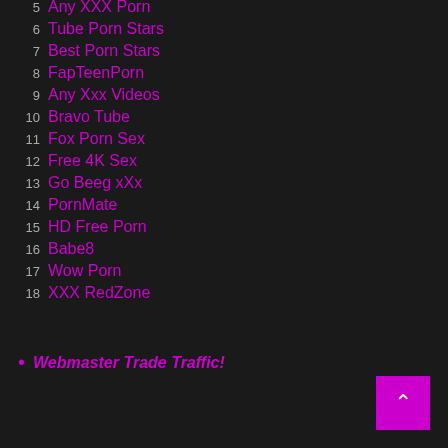5  Any XXX Porn
6  Tube Porn Stars
7  Best Porn Stars
8  FapTeenPorn
9  Any Xxx Videos
10  Bravo Tube
11  Fox Porn Sex
12  Free 4K Sex
13  Go Beeg xXx
14  PornMate
15  HD Free Porn
16  Babe8
17  Wow Porn
18  XXX RedZone
• Webmaster Trade Traffic!